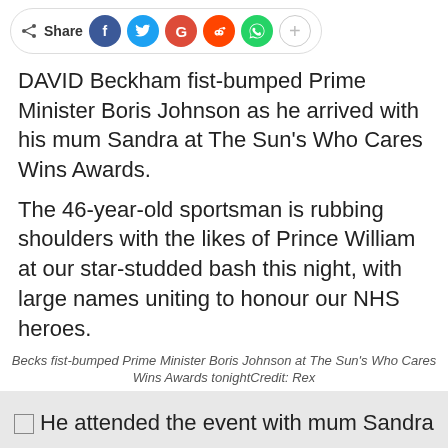[Figure (other): Social share bar with Facebook, Twitter, Google+, Reddit, WhatsApp, and plus buttons]
DAVID Beckham fist-bumped Prime Minister Boris Johnson as he arrived with his mum Sandra at The Sun's Who Cares Wins Awards.
The 46-year-old sportsman is rubbing shoulders with the likes of Prince William at our star-studded bash this night, with large names uniting to honour our NHS heroes.
Becks fist-bumped Prime Minister Boris Johnson at The Sun's Who Cares Wins Awards tonightCredit: Rex
[Figure (photo): He attended the event with mum Sandra]
He attended the occasion with mum SandraCredit: Getty
[Figure (photo): And posed for a photo with a young guest]
And posed for {{a photograph}} with a youthful buyerCredit: Getty